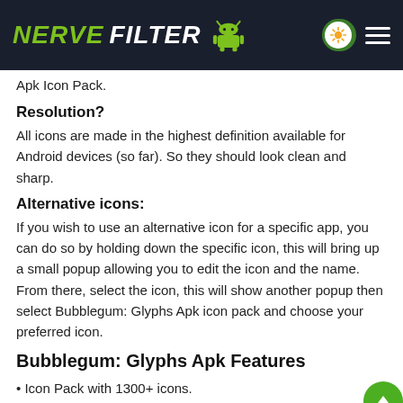NerveFilter [Android logo]
Apk Icon Pack.
Resolution?
All icons are made in the highest definition available for Android devices (so far). So they should look clean and sharp.
Alternative icons:
If you wish to use an alternative icon for a specific app, you can do so by holding down the specific icon, this will bring up a small popup allowing you to edit the icon and the name. From there, select the icon, this will show another popup then select Bubblegum: Glyphs Apk icon pack and choose your preferred icon.
Bubblegum: Glyphs Apk Features
• Icon Pack with 1300+ icons.